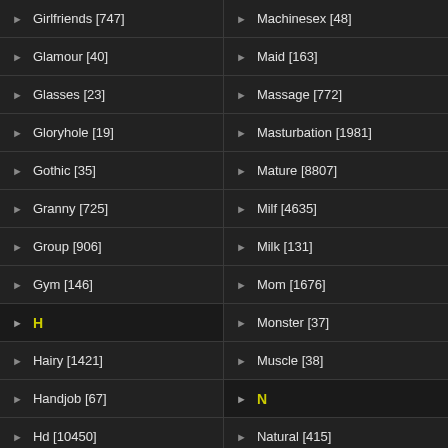Girlfriends [747]
Machinesex [48]
Glamour [40]
Maid [163]
Glasses [23]
Massage [772]
Gloryhole [19]
Masturbation [1981]
Gothic [35]
Mature [8807]
Granny [725]
Milf [4635]
Group [906]
Milk [131]
Gym [146]
Mom [1676]
H
Monster [37]
Hairy [1421]
Muscle [38]
Handjob [67]
N
Hd [10450]
Natural [415]
Heels [145]
Nipples [318]